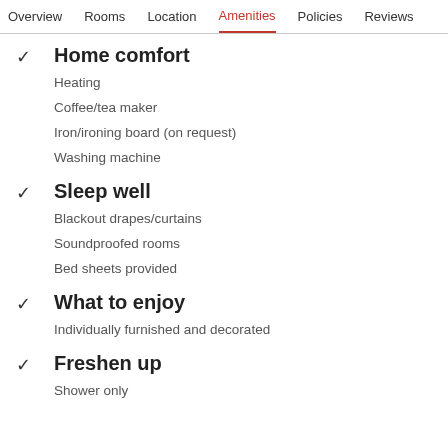Overview  Rooms  Location  Amenities  Policies  Reviews
Home comfort
Heating
Coffee/tea maker
Iron/ironing board (on request)
Washing machine
Sleep well
Blackout drapes/curtains
Soundproofed rooms
Bed sheets provided
What to enjoy
Individually furnished and decorated
Freshen up
Shower only